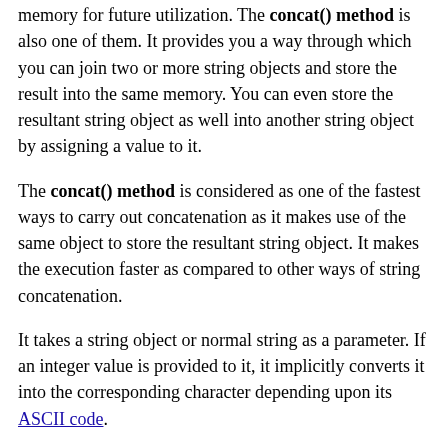memory for future utilization. The concat() method is also one of them. It provides you a way through which you can join two or more string objects and store the result into the same memory. You can even store the resultant string object as well into another string object by assigning a value to it.
The concat() method is considered as one of the fastest ways to carry out concatenation as it makes use of the same object to store the resultant string object. It makes the execution faster as compared to other ways of string concatenation.
It takes a string object or normal string as a parameter. If an integer value is provided to it, it implicitly converts it into the corresponding character depending upon its ASCII code.
The concat() method is implemented in the following way: